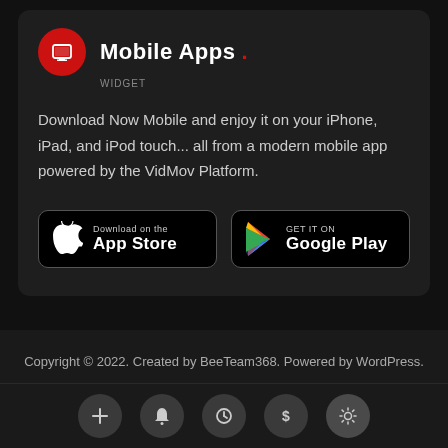Mobile Apps
Download Now Mobile and enjoy it on your iPhone, iPad, and iPod touch... all from a modern mobile app powered by the VidMov Platform.
[Figure (logo): Download on the App Store button]
[Figure (logo): Get it on Google Play button]
Copyright © 2022. Created by BeeTeam368. Powered by WordPress.
[Figure (infographic): Bottom navigation bar with icons: plus, bell, clock, dollar, settings (gear highlighted)]